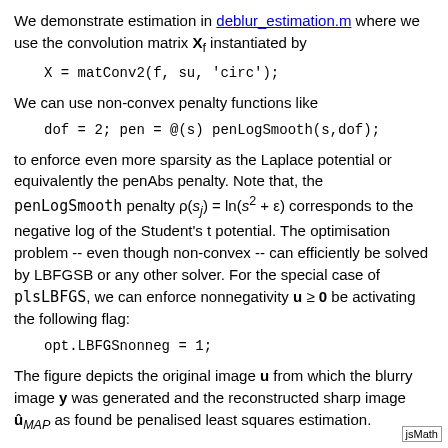We demonstrate estimation in deblur_estimation.m where we use the convolution matrix X_f instantiated by
We can use non-convex penalty functions like
to enforce even more sparsity as the Laplace potential or equivalently the penAbs penalty. Note that, the penLogSmooth penalty ρ(s_j) = ln(s² + ε) corresponds to the negative log of the Student's t potential. The optimisation problem -- even though non-convex -- can efficiently be solved by LBFGSB or any other solver. For the special case of plsLBFGS, we can enforce nonnegativity u ≥ 0 be activating the following flag:
The figure depicts the original image u from which the blurry image y was generated and the reconstructed sharp image û_MAP as found be penalised least squares estimation.